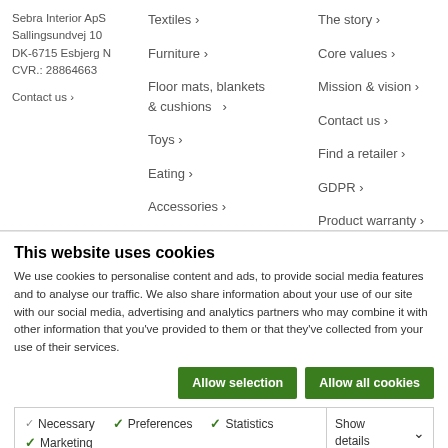Sebra Interior ApS
Sallingsundvej 10
DK-6715 Esbjerg N
CVR.: 28864663

Contact us >
Textiles >
Furniture >
Floor mats, blankets & cushions >
Toys >
Eating >
Accessories >
The story >
Core values >
Mission & vision >
Contact us >
Find a retailer >
GDPR >
Product warranty >
This website uses cookies
We use cookies to personalise content and ads, to provide social media features and to analyse our traffic. We also share information about your use of our site with our social media, advertising and analytics partners who may combine it with other information that you've provided to them or that they've collected from your use of their services.
Allow selection | Allow all cookies
Necessary  Preferences  Statistics  Marketing  Show details